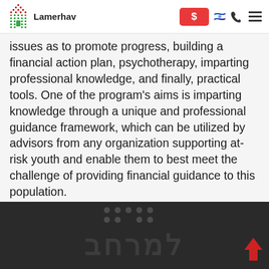Lamerhav
issues as to promote progress, building a financial action plan, psychotherapy, imparting professional knowledge, and finally, practical tools. One of the program's aims is imparting knowledge through a unique and professional guidance framework, which can be utilized by advisors from any organization supporting at-risk youth and enable them to best meet the challenge of providing financial guidance to this population.
[Figure (logo): Lamerhav dark footer with Hebrew text and decorative dots and an upward arrow icon]